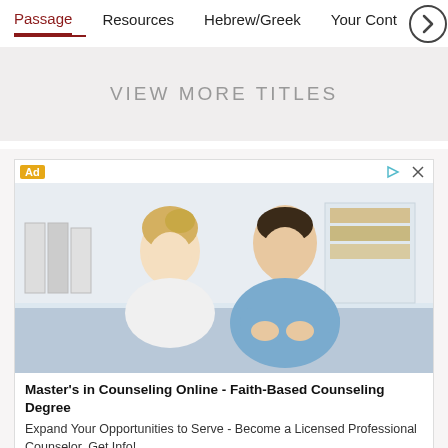Passage   Resources   Hebrew/Greek   Your Cont…
VIEW MORE TITLES
[Figure (screenshot): Advertisement banner showing two people in a counseling session — a blonde woman smiling and a man in a blue shirt leaning forward, in an office setting]
Master's in Counseling Online - Faith-Based Counseling Degree
Expand Your Opportunities to Serve - Become a Licensed Professional Counselor. Get Info!
enroll.divinemercy.edu   VISIT SITE